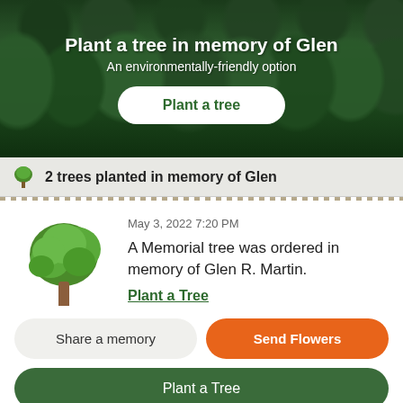Plant a tree in memory of Glen
An environmentally-friendly option
Plant a tree
2 trees planted in memory of Glen
May 3, 2022 7:20 PM
A Memorial tree was ordered in memory of Glen R. Martin.
Plant a Tree
Share a memory
Send Flowers
Plant a Tree